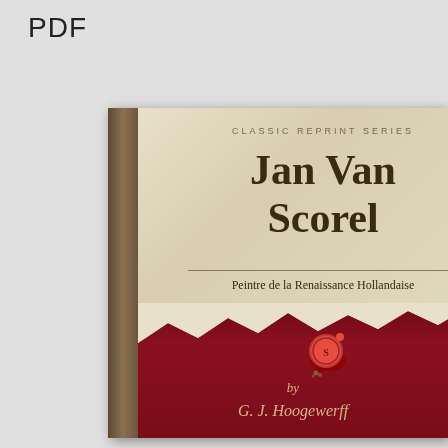PDF
[Figure (illustration): Book cover for 'Jan Van Scorel' by G. J. Hoogewerff, Classic Reprint Series. The cover has a cream/parchment upper section with the title in large serif font, a subtitle 'Peintre de la Renaissance Hollandaise', and a dark red lower section with a wax seal and the author's name in italic script. A book spine is visible on the left side.]